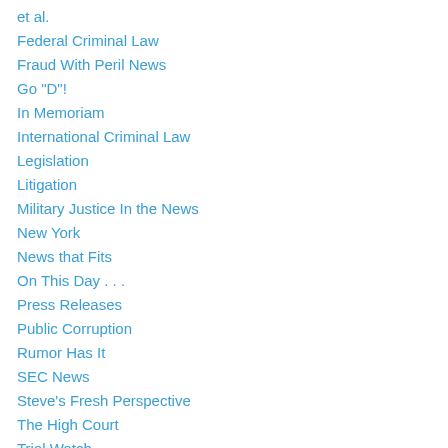et al.
Federal Criminal Law
Fraud With Peril News
Go "D"!
In Memoriam
International Criminal Law
Legislation
Litigation
Military Justice In the News
New York
News that Fits
On This Day . . .
Press Releases
Public Corruption
Rumor Has It
SEC News
Steve's Fresh Perspective
The High Court
Trial Watch
Upcoming Events